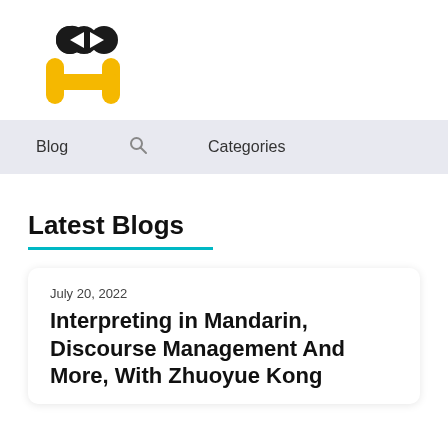[Figure (logo): Stylized logo with two pac-man like eyes (black circles) and a yellow H-shaped figure body]
Blog  🔍  Categories
Latest Blogs
July 20, 2022
Interpreting in Mandarin, Discourse Management And More, With Zhuoyue Kong